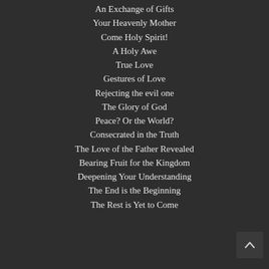An Exchange of Gifts
Your Heavenly Mother
Come Holy Spirit!
A Holy Awe
True Love
Gestures of Love
Rejecting the evil one
The Glory of God
Peace? Or the World?
Consecrated in the Truth
The Love of the Father Revealed
Bearing Fruit for the Kingdom
Deepening Your Understanding
The End is the Beginning
The Rest is Yet to Come